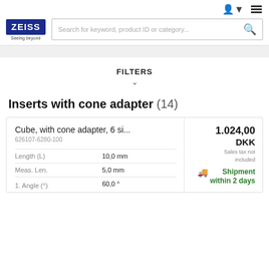ZEISS — Seeing beyond — Search for keyword, product ID or category...
FILTERS
Inserts with cone adapter (14)
|  |  |
| --- | --- |
| Cube, with cone adapter, 6 si... | 1.024,00 DKK |
| 626107-6280-100 | Sales tax not included |
| Length (L) | 10,0 mm |
| Meas. Len. | 5,0 mm |
| 1. Angle (°) | 60,0 ° |